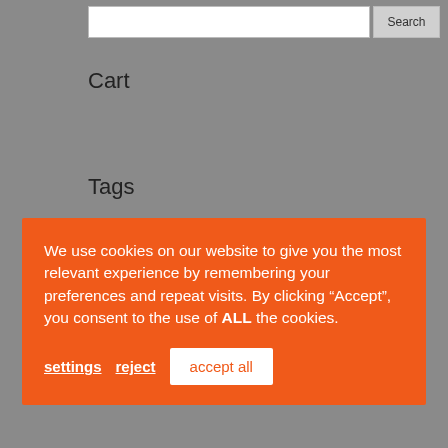Cart
Tags
We use cookies on our website to give you the most relevant experience by remembering your preferences and repeat visits. By clicking “Accept”, you consent to the use of ALL the cookies.
giorgia (1)
grace rockgirl (1)
guitar’s building (1)
handcrafted (1)
handmade (4)
high quality (1)
humbucking (1)
interview (2)
kosmos (1)
laura pausini (1)
lauro (1)
magnets (2)
materials (3)
max varini (1)
news (1)
pickups (3)